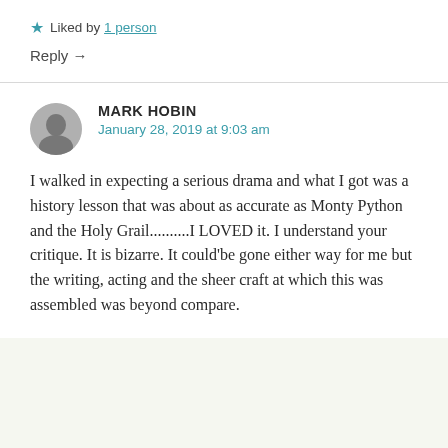★ Liked by 1 person
Reply →
MARK HOBIN
January 28, 2019 at 9:03 am
I walked in expecting a serious drama and what I got was a history lesson that was about as accurate as Monty Python and the Holy Grail..........I LOVED it. I understand your critique. It is bizarre. It could'be gone either way for me but the writing, acting and the sheer craft at which this was assembled was beyond compare.